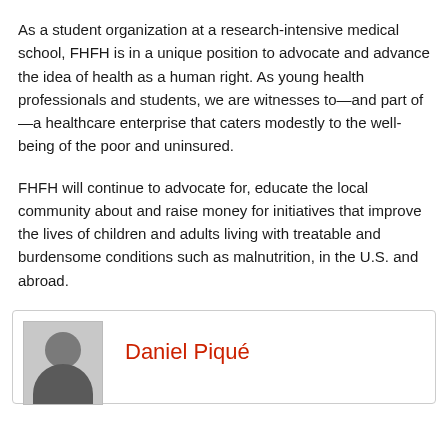As a student organization at a research-intensive medical school, FHFH is in a unique position to advocate and advance the idea of health as a human right. As young health professionals and students, we are witnesses to—and part of—a healthcare enterprise that caters modestly to the well-being of the poor and uninsured.
FHFH will continue to advocate for, educate the local community about and raise money for initiatives that improve the lives of children and adults living with treatable and burdensome conditions such as malnutrition, in the U.S. and abroad.
[Figure (photo): Profile photo of Daniel Piqué, a man with dark hair, shown in a bordered card alongside his name in red text.]